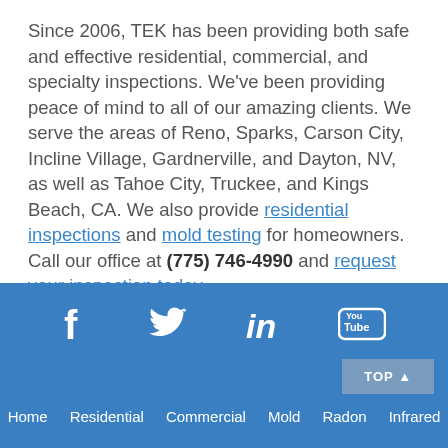Since 2006, TEK has been providing both safe and effective residential, commercial, and specialty inspections. We've been providing peace of mind to all of our amazing clients. We serve the areas of Reno, Sparks, Carson City, Incline Village, Gardnerville, and Dayton, NV, as well as Tahoe City, Truckee, and Kings Beach, CA. We also provide residential inspections and mold testing for homeowners. Call our office at (775) 746-4990 and request your inspection today.
[Figure (other): Social media footer with Facebook, Twitter, LinkedIn, and YouTube icons on a blue background, with a TOP button and navigation links for Home, Residential, Commercial, Mold, Radon, Infrared]